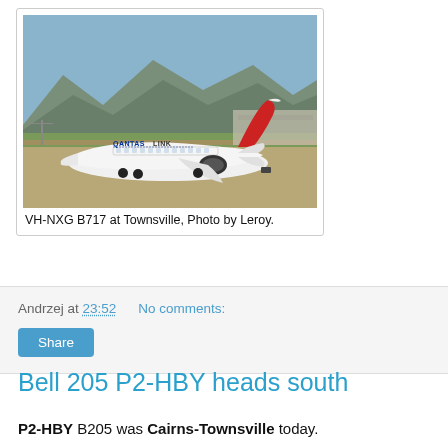[Figure (photo): QantasLink Boeing 717 (VH-NXG) on a runway at Townsville Airport, with mountains in the background. The aircraft is white with a red kangaroo tail livery and 'QantasLink' written on the fuselage.]
VH-NXG B717 at Townsville, Photo by Leroy.
Andrzej at 23:52   No comments:
Bell 205 P2-HBY heads south
P2-HBY B205 was Cairns-Townsville today.